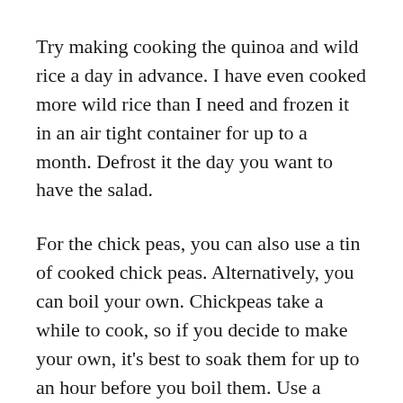Try making cooking the quinoa and wild rice a day in advance. I have even cooked more wild rice than I need and frozen it in an air tight container for up to a month. Defrost it the day you want to have the salad.
For the chick peas, you can also use a tin of cooked chick peas. Alternatively, you can boil your own. Chickpeas take a while to cook, so if you decide to make your own, it's best to soak them for up to an hour before you boil them. Use a pressure cooker to boil them or else they will take a long time to become tender.
Chop an English cucumber into bite size cubes